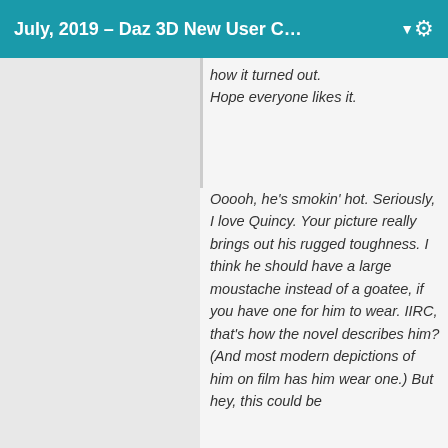July, 2019 – Daz 3D New User C… ▼
how it turned out. Hope everyone likes it.
Ooooh, he's smokin' hot. Seriously, I love Quincy. Your picture really brings out his rugged toughness. I think he should have a large moustache instead of a goatee, if you have one for him to wear. IIRC, that's how the novel describes him? (And most modern depictions of him on film has him wear one.) But hey, this could be